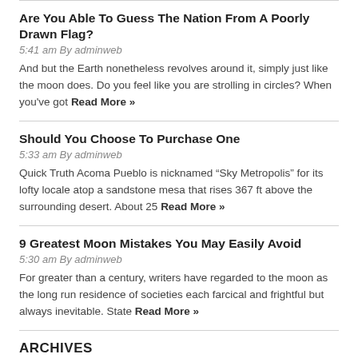Are You Able To Guess The Nation From A Poorly Drawn Flag?
5:41 am By adminweb
And but the Earth nonetheless revolves around it, simply just like the moon does. Do you feel like you are strolling in circles? When you've got Read More »
Should You Choose To Purchase One
5:33 am By adminweb
Quick Truth Acoma Pueblo is nicknamed “Sky Metropolis” for its lofty locale atop a sandstone mesa that rises 367 ft above the surrounding desert. About 25 Read More »
9 Greatest Moon Mistakes You May Easily Avoid
5:30 am By adminweb
For greater than a century, writers have regarded to the moon as the long run residence of societies each farcical and frightful but always inevitable. State Read More »
ARCHIVES